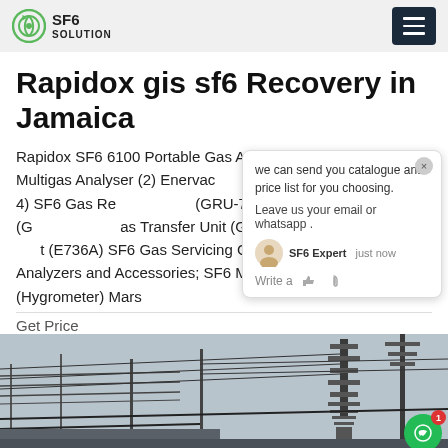SF6 SOLUTION
Rapidox gis sf6 Recovery in Jamaica
Rapidox SF6 6100 Portable Gas Analyser Rapidox 7100 Multigas Analyser (2) Enervac SF6 Gas Recovery Unit (GRU-4) SF6 Gas Recovery Unit (GRU-7) SF6 Gas Recovery Unit (G...) SF6 Gas Transfer Unit (GTU) SF6 Gas Servicing Cart (E736A) SF6 Gas Servicing Cart (E7301) SF6 Gas Analyzers and Accessories; SF6 Moisture Measuring Device (Hygrometer) Mars
Get Price
[Figure (photo): Electrical power transmission infrastructure, showing high-voltage power lines and equipment against a grey sky]